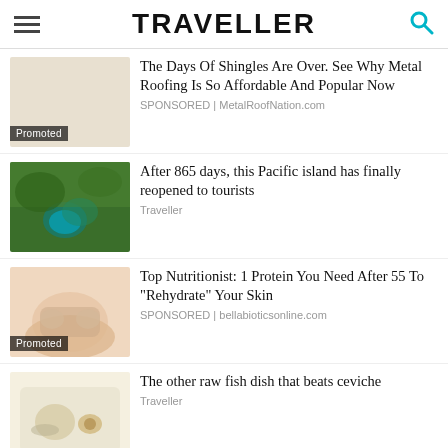TRAVELLER
The Days Of Shingles Are Over. See Why Metal Roofing Is So Affordable And Popular Now
SPONSORED | MetalRoofNation.com
[Figure (photo): Aerial or landscape photo showing green foliage and turquoise water, Pacific island scene]
After 865 days, this Pacific island has finally reopened to tourists
Traveller
[Figure (photo): Close-up photo of a person covering their face with their hands, skin care context]
Top Nutritionist: 1 Protein You Need After 55 To "Rehydrate" Your Skin
SPONSORED | bellabioticsonline.com
[Figure (photo): Photo of a raw fish dish, light colored background with garnishes]
The other raw fish dish that beats ceviche
Traveller
SHARE